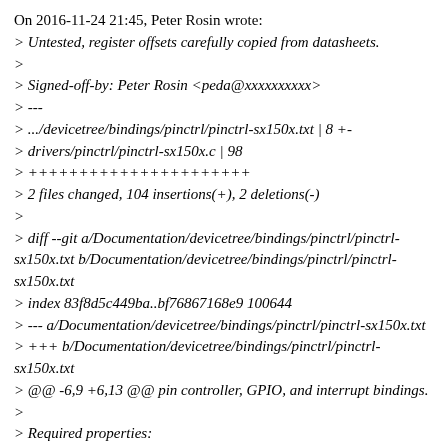On 2016-11-24 21:45, Peter Rosin wrote:
> Untested, register offsets carefully copied from datasheets.
>
> Signed-off-by: Peter Rosin <peda@xxxxxxxxxx>
> ---
> .../devicetree/bindings/pinctrl/pinctrl-sx150x.txt | 8 +-
> drivers/pinctrl/pinctrl-sx150x.c | 98
> ++++++++++++++++++++++
> 2 files changed, 104 insertions(+), 2 deletions(-)
>
> diff --git a/Documentation/devicetree/bindings/pinctrl/pinctrl-sx150x.txt b/Documentation/devicetree/bindings/pinctrl/pinctrl-sx150x.txt
> index 83f8d5c449ba..bf76867168e9 100644
> --- a/Documentation/devicetree/bindings/pinctrl/pinctrl-sx150x.txt
> +++ b/Documentation/devicetree/bindings/pinctrl/pinctrl-sx150x.txt
> @@ -6,9 +6,13 @@ pin controller, GPIO, and interrupt bindings.
>
> Required properties:
> - compatible: should be one of :
> + "semtech,sx1501q",
> "semtech,sx1502q",